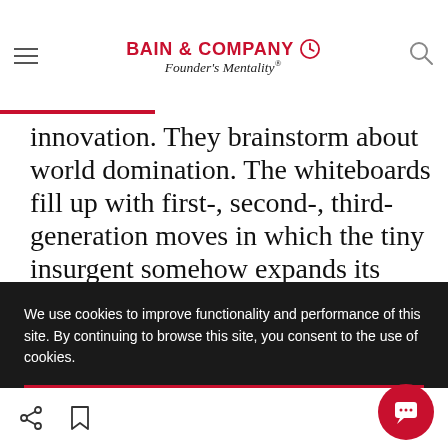BAIN & COMPANY Founder's Mentality®
innovation. They brainstorm about world domination. The whiteboards fill up with first-, second-, third-generation moves in which the tiny insurgent somehow expands its market power and influence in ever-expanding circles, like the shock waves of a meteor strike. For
We use cookies to improve functionality and performance of this site. By continuing to browse this site, you consent to the use of cookies.
ACCEPT ALL COOKIES